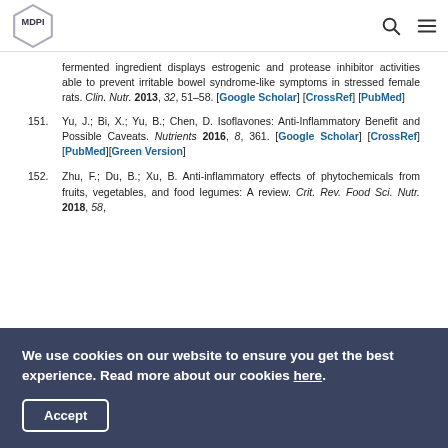MDPI [logo with navigation icons]
fermented ingredient displays estrogenic and protease inhibitor activities able to prevent irritable bowel syndrome-like symptoms in stressed female rats. Clin. Nutr. 2013, 32, 51–58. [Google Scholar] [CrossRef] [PubMed]
151. Yu, J.; Bi, X.; Yu, B.; Chen, D. Isoflavones: Anti-Inflammatory Benefit and Possible Caveats. Nutrients 2016, 8, 361. [Google Scholar] [CrossRef] [PubMed][Green Version]
152. Zhu, F.; Du, B.; Xu, B. Anti-inflammatory effects of phytochemicals from fruits, vegetables, and food legumes: A review. Crit. Rev. Food Sci. Nutr. 2018, 58…
We use cookies on our website to ensure you get the best experience. Read more about our cookies here. Accept